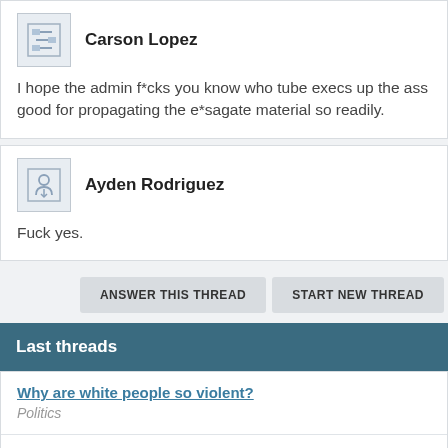Carson Lopez
I hope the admin f*cks you know who tube execs up the ass good for propagating the e*sagate material so readily.
Ayden Rodriguez
Fuck yes.
ANSWER THIS THREAD
START NEW THREAD
Last threads
Why are white people so violent?
Politics
CRACKING THE CODE. YOU DO NOT HAVE AN INCOME TAX